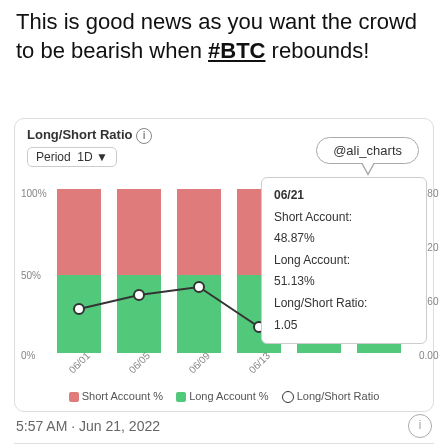This is good news as you want the crowd to be bearish when #BTC rebounds!
[Figure (stacked-bar-chart): Stacked bar chart showing Long/Short ratio with tooltip: 06/21, Short Account: 48.87%, Long Account: 51.13%, Long/Short Ratio: 1.05]
5:57 AM · Jun 21, 2022
13  Reply  Copy link
Read 1 reply